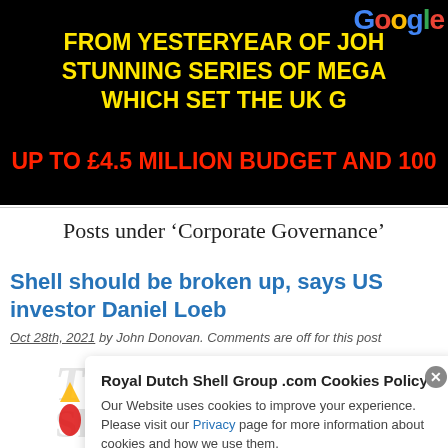[Figure (screenshot): Black banner with yellow bold text reading 'FROM YESTERYEAR OF JOH... STUNNING SERIES OF MEGA... WHICH SET THE UK G...' and red bold text 'UP TO £4.5 MILLION BUDGET AND 100...' with Google logo top right]
Posts under ‘Corporate Governance’
Shell should be broken up, says US investor Daniel Loeb
Oct 28th, 2021 by John Donovan. Comments are off for this post
Royal Dutch Shell Group .com Cookies Policy
Our Website uses cookies to improve your experience. Please visit our Privacy page for more information about cookies and how we use them.